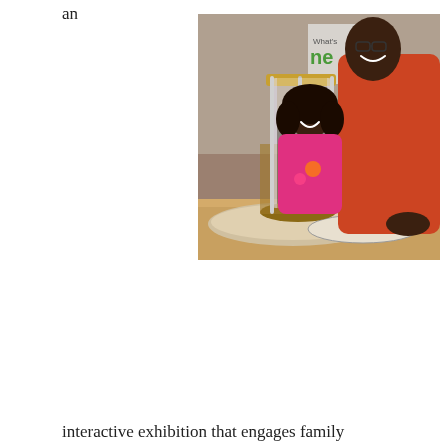an
[Figure (photo): A man in an orange sweatshirt and a young girl in a pink shirt both lean over and look closely at a cylindrical scientific display apparatus made of wood and glass rods, smiling, at what appears to be an interactive museum exhibition. A 'What's Next' sign is visible in the blurred background.]
interactive exhibition that engages family